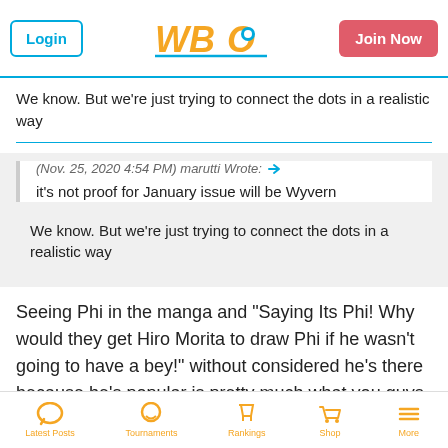Login | WBO | Join Now
We know. But we’re just trying to connect the dots in a realistic way
(Nov. 25, 2020  4:54 PM) marutti Wrote: it's not proof for January issue will be Wyvern
We know. But we’re just trying to connect the dots in a realistic way
Seeing Phi in the manga and "Saying Its Phi! Why would they get Hiro Morita to draw Phi if he wasn't going to have a bey!" without considered he's there because he's popular is pretty much what you guys are doing.
Latest Posts | Tournaments | Rankings | Shop | More